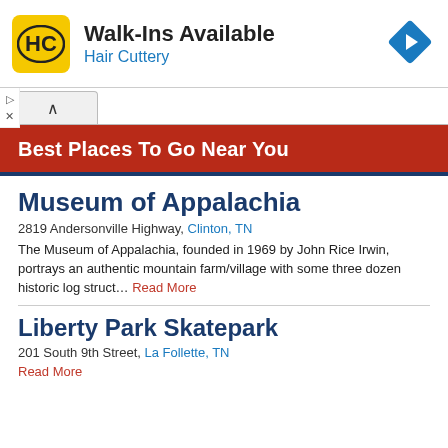[Figure (infographic): Hair Cuttery advertisement banner with HC logo, 'Walk-Ins Available' text, and a blue navigation diamond icon on the right]
Best Places To Go Near You
Museum of Appalachia
2819 Andersonville Highway, Clinton, TN
The Museum of Appalachia, founded in 1969 by John Rice Irwin, portrays an authentic mountain farm/village with some three dozen historic log struct… Read More
Liberty Park Skatepark
201 South 9th Street, La Follette, TN
Read More